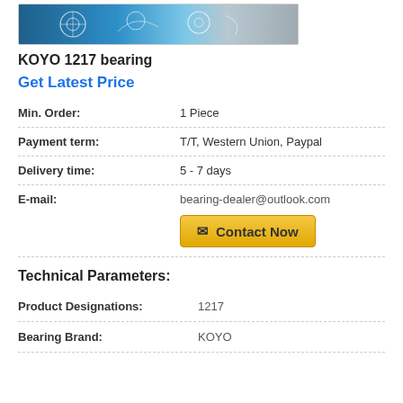[Figure (photo): Product photo showing blue engineering/bearing diagrams on paper]
KOYO 1217 bearing
Get Latest Price
| Field | Value |
| --- | --- |
| Min. Order: | 1 Piece |
| Payment term: | T/T, Western Union, Paypal |
| Delivery time: | 5 - 7 days |
| E-mail: | bearing-dealer@outlook.com |
Technical Parameters:
| Field | Value |
| --- | --- |
| Product Designations: | 1217 |
| Bearing Brand: | KOYO |